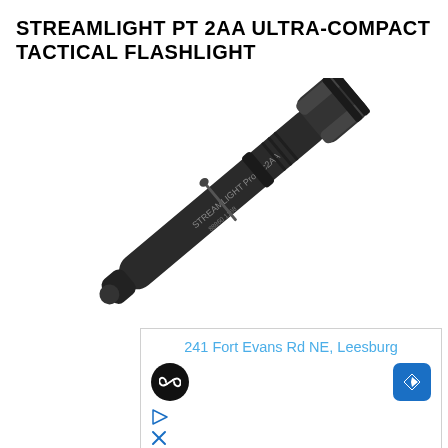STREAMLIGHT PT 2AA ULTRA-COMPACT TACTICAL FLASHLIGHT
[Figure (photo): A black Streamlight ProTac 2AA ultra-compact tactical flashlight shown diagonally, labeled 'STREAMLIGHT ProTac2AA' on the body, with textured grip and pocket clip visible.]
241 Fort Evans Rd NE, Leesburg